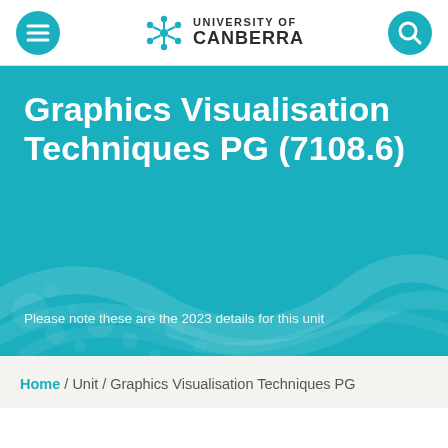University of Canberra
Graphics Visualisation Techniques PG (7108.6)
Please note these are the 2023 details for this unit
Home / Unit / Graphics Visualisation Techniques PG